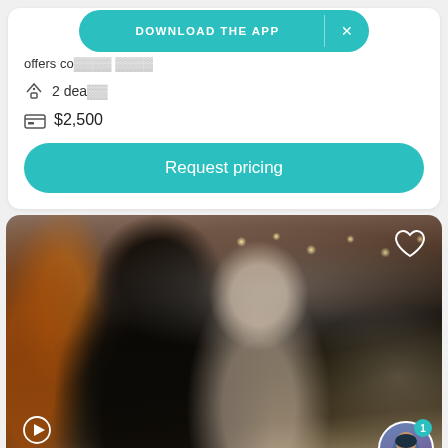offers co... [truncated]
2 deals
$2,500
DOWNLOAD THE APP  ×
Request pricing
[Figure (photo): Wedding couple sharing first dance inside a decorated venue with warm string lights and fall foliage. Bride in white lace dress smiling, groom in dark suit. Guests visible in background. Heart icon overlay top right, play button bottom left, dot navigation indicators bottom center, avatar bubble with notification badge bottom right.]